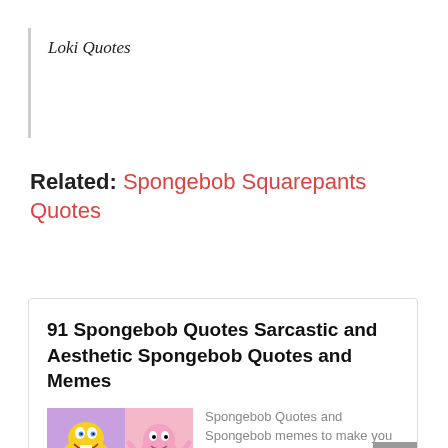Loki Quotes
Related: Spongebob Squarepants Quotes
91 Spongebob Quotes Sarcastic and Aesthetic Spongebob Quotes and Memes
[Figure (illustration): Two cartoon character images: SpongeBob on purple/lavender background and Patrick on pink background]
Spongebob Quotes and Spongebob memes to make you laugh and sarcastic Spongebob aesthetic quotes and